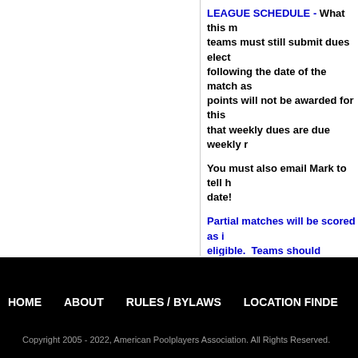LEAGUE SCHEDULE - What this m... teams must still submit dues elect... following the date of the match as... points will not be awarded for this... that weekly dues are due weekly r...
You must also email Mark to tell h... date!
Partial matches will be scored as i... eligible. Teams should coordinate...
HOME    ABOUT    RULES / BYLAWS    LOCATION FINDE...
Copyright 2005 - 2022, American Poolplayers Association. All Rights Reserved.